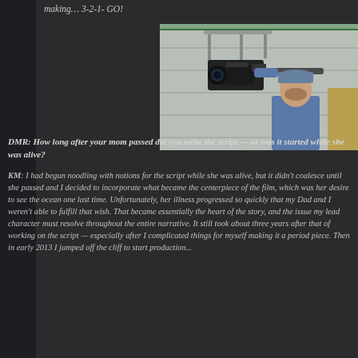making… 3-2-1- GO!
[Figure (photo): A man in a blue shirt and cap holding up a professional film camera rig outdoors in front of a white garage door. The camera is mounted on a crane or stabilizer rig above him.]
DMR: How long after your mom passed did you write the script — or was it started while she was alive?
KM: I had begun noodling with notions for the script while she was alive, but it didn't coalesce until she passed and I decided to incorporate what became the centerpiece of the film, which was her desire to see the ocean one last time. Unfortunately, her illness progressed so quickly that my Dad and I weren't able to fulfill that wish. That became essentially the heart of the story, and the issue my lead character must resolve throughout the entire narrative. It still took about three years after that of working on the script — especially after I complicated things for myself making it a period piece. Then in early 2013 I jumped off the cliff to start production...